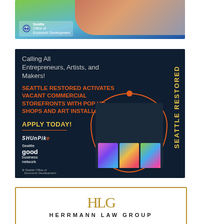[Figure (illustration): Seattle Office of Economic Development advertisement banner showing two people (restaurant workers/entrepreneurs) with green and blue wave design and the Seattle Office of Economic Development logo.]
[Figure (illustration): Seattle Restored advertisement on dark navy background. Text: 'Calling All Entrepreneurs, Artists, and Makers!' and 'SEATTLE RESTORED ACTIVATES VACANT COMMERCIAL STOREFRONTS WITH POP UP SHOPS AND ART INSTALLATIONS. APPLY TODAY!' with Shunpike, Seattle Good Business Network, and Seattle Office of Economic Development logos. Right side shows storefront with colorful art panels inside a circle frame. Vertical text reads 'Seattle RESTORED'.]
[Figure (logo): Herrmann Law Group advertisement with gold border. Shows 'HLG' monogram logo in gold and 'HERRMANN LAW GROUP' text in spaced capitals.]